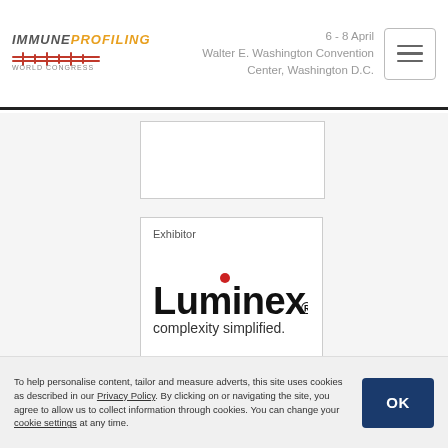IMMUNE PROFILING WORLD CONGRESS | 6 - 8 April | Walter E. Washington Convention Center, Washington D.C.
[Figure (logo): Luminex logo with red dot over 'i' and tagline 'complexity simplified.']
Exhibitor
To help personalise content, tailor and measure adverts, this site uses cookies as described in our Privacy Policy. By clicking on or navigating the site, you agree to allow us to collect information through cookies. You can change your cookie settings at any time.